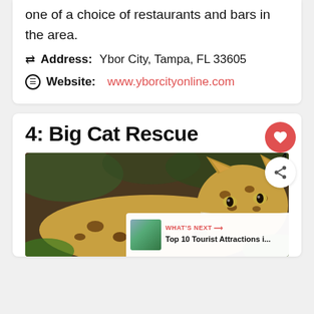one of a choice of restaurants and bars in the area.
Address: Ybor City, Tampa, FL 33605
Website: www.yborcityonline.com
4: Big Cat Rescue
[Figure (photo): Close-up photo of a large spotted wild cat (serval or similar) at Big Cat Rescue]